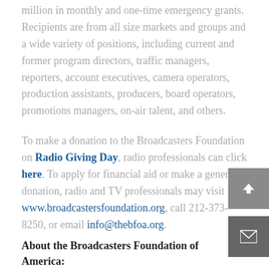million in monthly and one-time emergency grants. Recipients are from all size markets and groups and a wide variety of positions, including current and former program directors, traffic managers, reporters, account executives, camera operators, production assistants, producers, board operators, promotions managers, on-air talent, and others.
To make a donation to the Broadcasters Foundation on Radio Giving Day, radio professionals can click here. To apply for financial aid or make a general donation, radio and TV professionals may visit www.broadcastersfoundation.org, call 212-373-8250, or email info@thebfoa.org.
About the Broadcasters Foundation of America: